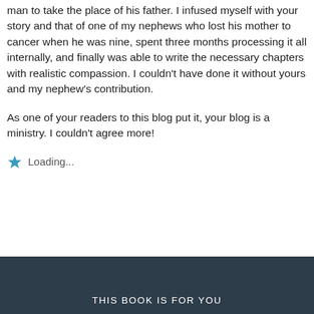man to take the place of his father. I infused myself with your story and that of one of my nephews who lost his mother to cancer when he was nine, spent three months processing it all internally, and finally was able to write the necessary chapters with realistic compassion. I couldn't have done it without yours and my nephew's contribution.
As one of your readers to this blog put it, your blog is a ministry. I couldn't agree more!
Loading...
THIS BOOK IS FOR YOU